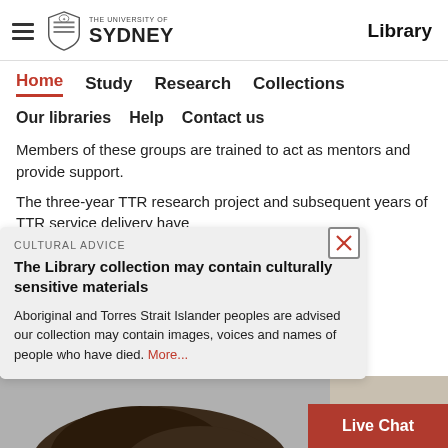The University of Sydney — Library
Home  Study  Research  Collections
Our libraries  Help  Contact us
Members of these groups are trained to act as mentors and provide support.
The three-year TTR research project and subsequent years of TTR service delivery have
e and has ple with groups.
e to inclusive
CULTURAL ADVICE
The Library collection may contain culturally sensitive materials
Aboriginal and Torres Strait Islander peoples are advised our collection may contain images, voices and names of people who have died. More...
Live Chat